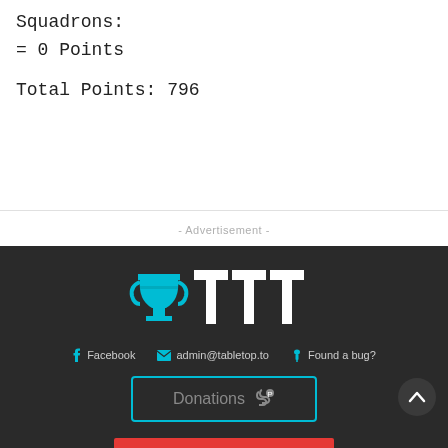Squadrons:
= 0 Points
Total Points: 796
- Advertisement -
[Figure (logo): TTT (TabletTop Tournaments) logo with cyan trophy icon and white TTT text on dark background]
Facebook   admin@tabletop.to   Found a bug?
Donations